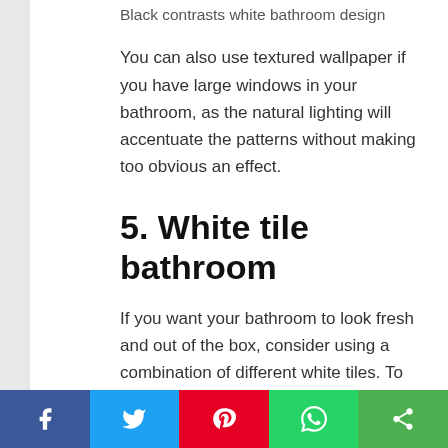Black contrasts white bathroom design
You can also use textured wallpaper if you have large windows in your bathroom, as the natural lighting will accentuate the patterns without making too obvious an effect.
5. White tile bathroom
If you want your bathroom to look fresh and out of the box, consider using a combination of different white tiles. To create a contrast effect, paint one of the walls in a rich brown or burnt orange colour, and position a beige or stark white vanity against it. This combination, along with the white tiles on the other walls of the